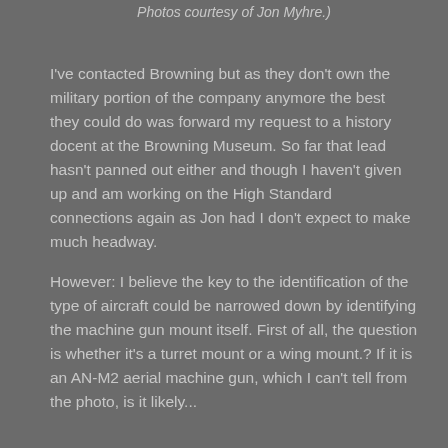Photos courtesy of Jon Myhre.)
I've contacted Browning but as they don't own the military portion of the company anymore the best they could do was forward my request to a history docent at the Browning Museum.  So far that lead hasn't panned out either and though I haven't given up and am working on the High Standard connections again as Jon had I don't expect to make much headway.
However: I believe the key to the identification of the type of aircraft  could be narrowed down by identifying the machine gun mount itself.  First of all, the question is whether it's a turret mount or a wing mount.?  If it is an AN-M2 aerial machine gun, which I can't tell from the photo, is it likely...